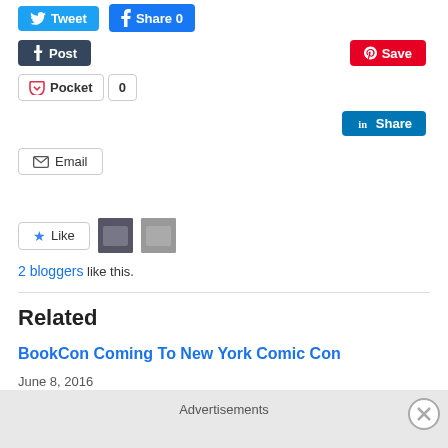[Figure (screenshot): Social share buttons: Tweet, Facebook Share 0, Tumblr Post, Pinterest Save, Pocket 0, LinkedIn Share, Email]
[Figure (photo): Two small avatar thumbnails of bloggers who liked the post]
2 bloggers like this.
Related
BookCon Coming To New York Comic Con
June 8, 2016
Advertisements